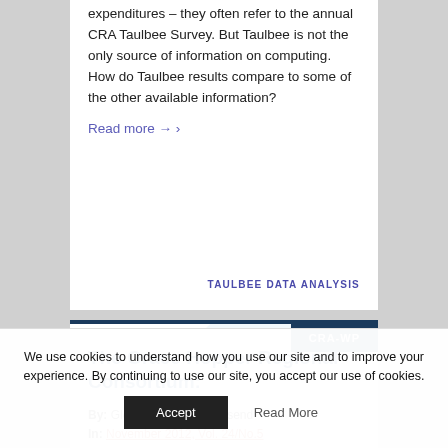expenditures – they often refer to the annual CRA Taulbee Survey. But Taulbee is not the only source of information on computing. How do Taulbee results compare to some of the other available information?
Read more →
TAULBEE DATA ANALYSIS
CRA-WP
The Grace Hopper Regional Consortium:
By: Gloria Childress Townsend
In: November 2012, Vol. 24/No.5
We use cookies to understand how you use our site and to improve your experience. By continuing to use our site, you accept our use of cookies.
Accept
Read More